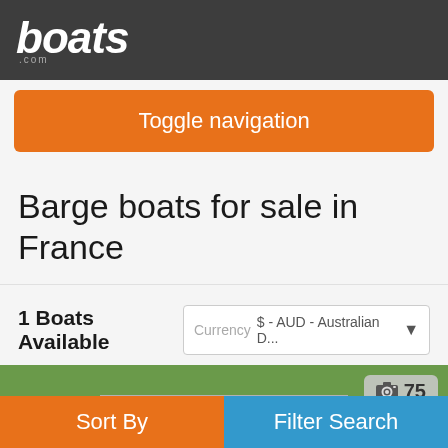boats.com
Toggle navigation
Barge boats for sale in France
1 Boats Available   Currency  $ - AUD - Australian D...
[Figure (photo): Marina/harbor scene with boats docked, a road with flowers and trees in the background, and a blurred red object in the foreground right. Photo counter badge showing 75 photos.]
Sort By
Filter Search